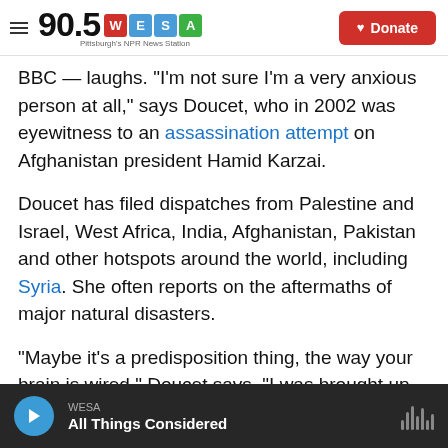90.5 WESA Pittsburgh's NPR News Station | Donate
BBC — laughs. "I'm not sure I'm a very anxious person at all," says Doucet, who in 2002 was eyewitness to an assassination attempt on Afghanistan president Hamid Karzai.
Doucet has filed dispatches from Palestine and Israel, West Africa, India, Afghanistan, Pakistan and other hotspots around the world, including Syria. She often reports on the aftermaths of major natural disasters.
"Maybe it's a predisposition thing, the way your brain is wired," Doucet says. "I was brought up with
WESA | All Things Considered